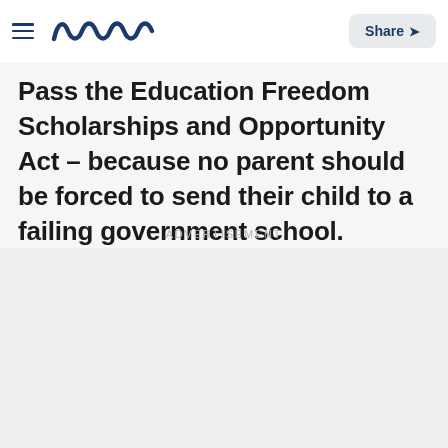Meaww — Share
Pass the Education Freedom Scholarships and Opportunity Act – because no parent should be forced to send their child to a failing government school.
ADVERTISEMENT